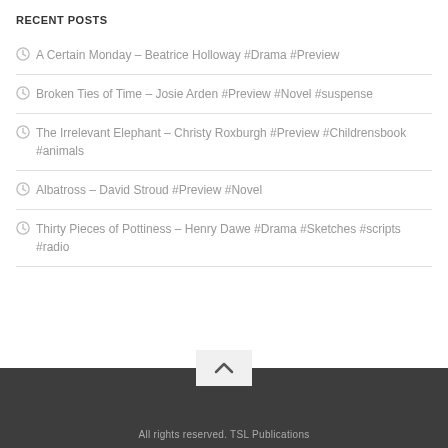RECENT POSTS
A Certain Monday – Beatrice Holloway #Drama #Preview
Broken Ties of Time – Josie Arden #Preview #Novel #suspense
The Irrelevant Elephant – Christy Roxburgh #Preview #Childrensbook #animals
Albatross – David Stroud #Preview #Novel
Thirty Pieces of Pottiness – Henry Dawe #Drama #Sketches #scripts #radio
All rights reserved. TSL Publications